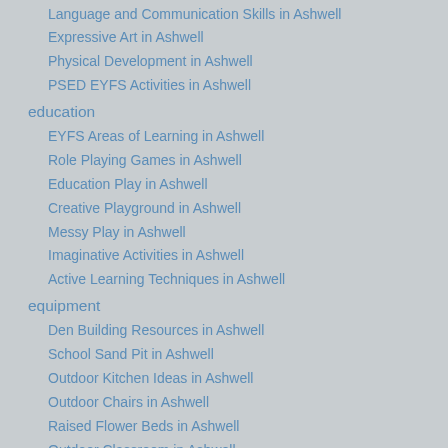Language and Communication Skills in Ashwell
Expressive Art in Ashwell
Physical Development in Ashwell
PSED EYFS Activities in Ashwell
education
EYFS Areas of Learning in Ashwell
Role Playing Games in Ashwell
Education Play in Ashwell
Creative Playground in Ashwell
Messy Play in Ashwell
Imaginative Activities in Ashwell
Active Learning Techniques in Ashwell
equipment
Den Building Resources in Ashwell
School Sand Pit in Ashwell
Outdoor Kitchen Ideas in Ashwell
Outdoor Chairs in Ashwell
Raised Flower Beds in Ashwell
Outdoor Classroom in Ashwell
Trim Trail Playground Equipment in Ashwell
Monkey Bars for Play Areas in Ashwell
Calisthenics Apparatus in Ashwell